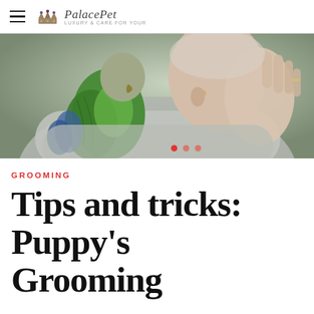PalacePet
[Figure (photo): Close-up photo of a green parrot (parakeet) perched on a person's shoulder near their ear, with the person's hand raised. The person is wearing a light grey top. The background is blurred.]
GROOMING
Tips and tricks: Puppy's Grooming